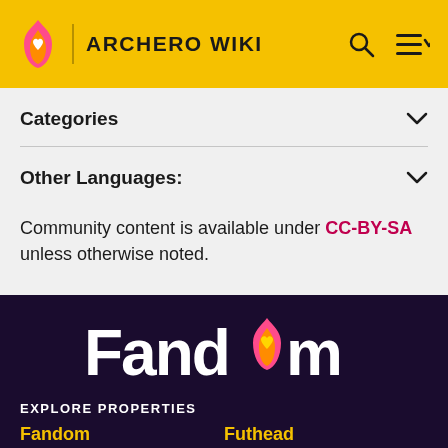ARCHERO WIKI
Categories
Other Languages:
Community content is available under CC-BY-SA unless otherwise noted.
[Figure (logo): Fandom logo in white with flame icon containing heart, on dark purple background]
EXPLORE PROPERTIES
Fandom   Futhead